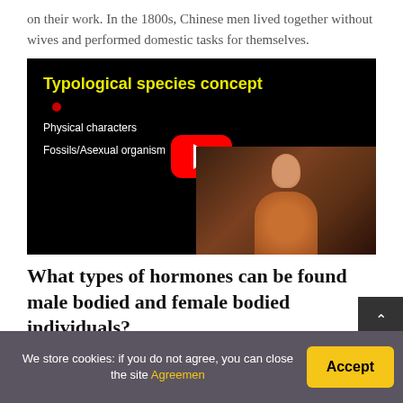on their work. In the 1800s, Chinese men lived together without wives and performed domestic tasks for themselves.
[Figure (screenshot): YouTube video thumbnail showing 'Typological species concept' with text: Physical characters, Fossils/Asexual organisms. A man in an orange shirt is visible in the lower right. A YouTube play button is centered on the black background.]
What types of hormones can be found in male bodied and female bodied individuals?
We store cookies: if you do not agree, you can close the site Agreement